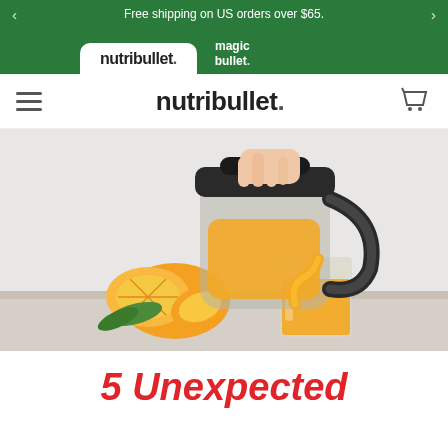Free shipping on US orders over $65.
[Figure (logo): nutribullet and magic bullet brand tab navigation on green background]
nutribullet. (hamburger menu, cart icon)
[Figure (photo): Hand pouring orange juice from a dark NutriBullet pitcher into a glass, with sliced oranges and green leaves on a white surface.]
5 Unexpected